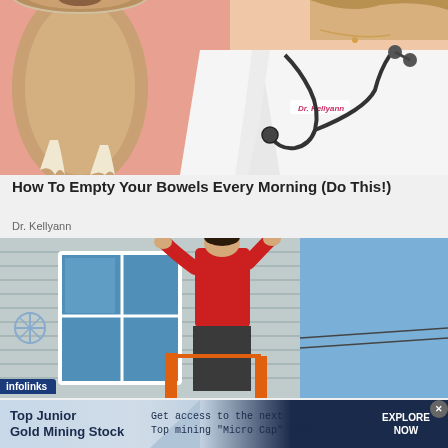[Figure (photo): Photo of a female doctor (Dr. Kellyann) in white lab coat with stethoscope, standing in front of a large toilet paper roll on a pink background]
How To Empty Your Bowels Every Morning (Do This!)
Dr. Kellyann
[Figure (photo): Photo of a person in a red shirt working on a house window, with partial signage visible in upper right corner]
infolinks
Top Junior Gold Mining Stock    Get access to the next Top mining "Micro Cap" here!    EXPLORE NOW